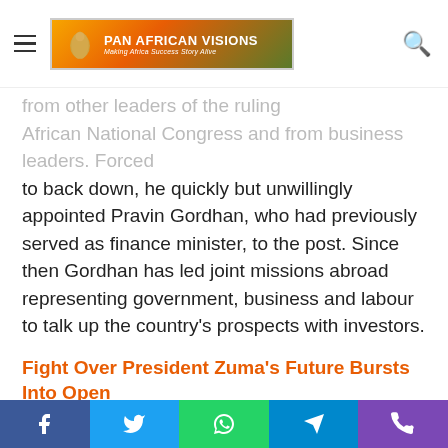Pan African Visions — Making Africa Success Story Alive
...from other leaders of the ruling African National Congress and from business leaders. Forced to back down, he quickly but unwillingly appointed Pravin Gordhan, who had previously served as finance minister, to the post. Since then Gordhan has led joint missions abroad representing government, business and labour to talk up the country's prospects with investors.
Fight Over President Zuma's Future Bursts Into Open
Gordhan and Jonas were on such a mission in London on Monday when Zuma ordered them home. On the same day, Zuma told firstly the ANC's allies in the South African Communist Party (SACP) and then the other top five leaders of the ANC of his intention to fire the finance team. Both the
Facebook | Twitter | WhatsApp | Telegram | Phone